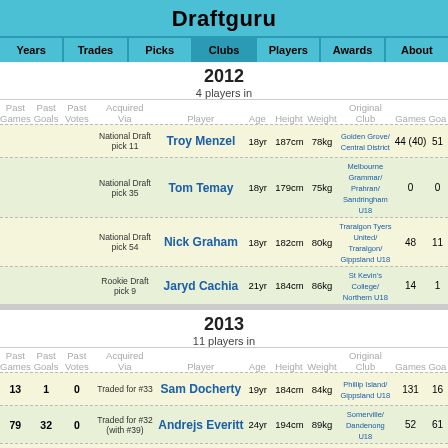Draftguru
Years | Trades | Picks | Clubs | Players | Awards | About
2012
4 players in
| Past Games | Past Goals | Past Votes | Acquired Via | Player | Age | Height | Weight | Original Club | Games | Goals |
| --- | --- | --- | --- | --- | --- | --- | --- | --- | --- | --- |
|  |  |  | National Draft pick 11 | Troy Menzel | 18yr | 187cm | 78kg | Golden Grove/ Central District | 44 (40) | 51 |
|  |  |  | National Draft pick 35 | Tom Temay | 18yr | 179cm | 75kg | Melbourne Grammar/ Prahran/ Sandringham U18 | 0 | 0 |
|  |  |  | National Draft pick 54 | Nick Graham | 18yr | 182cm | 80kg | Traralgon Tyers United/ Traralgon/ Gippsland U18 | 48 | 11 |
|  |  |  | Rookie Draft pick 9 | Jaryd Cachia | 21yr | 184cm | 86kg | St Kevin's College/ Northern U18 | 14 | 1 |
2013
11 players in
| Past Games | Past Goals | Past Votes | Acquired Via | Player | Age | Height | Weight | Original Club | Games | Goals |
| --- | --- | --- | --- | --- | --- | --- | --- | --- | --- | --- |
| 13 | 1 | 0 | Traded for #33 | Sam Docherty | 19yr | 184cm | 84kg | Phillip Island/ Gippsland U18 | 131 | 16 |
| 79 | 32 | 0 | Traded for #32 (with #39) | Andrejs Everitt | 24yr | 194cm | 89kg | Somerville/ Dandenong U18 | 52 | 61 |
| 157 | 121 | 21 | Restricted Free Agent | Dale Thomas | 26yr | 185cm | 86kg | Drouin/ Gippsland U18 | 101 | 34 |
|  |  |  | National Draft pick 13 | Patrick Cripps | 18yr | 193cm | 91kg | Northampton/ East Fremantle | 159 | 87 |
|  |  |  | National Draft |  |  |  |  | Blyth-Snowtown/ |  |  |